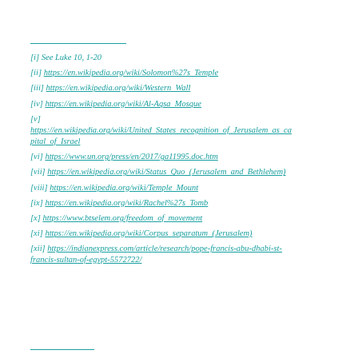[i] See Luke 10, 1-20
[ii] https://en.wikipedia.org/wiki/Solomon%27s_Temple
[iii] https://en.wikipedia.org/wiki/Western_Wall
[iv] https://en.wikipedia.org/wiki/Al-Aqsa_Mosque
[v] https://en.wikipedia.org/wiki/United_States_recognition_of_Jerusalem_as_capital_of_Israel
[vi] https://www.un.org/press/en/2017/ga11995.doc.htm
[vii] https://en.wikipedia.org/wiki/Status_Quo_(Jerusalem_and_Bethlehem)
[viii] https://en.wikipedia.org/wiki/Temple_Mount
[ix] https://en.wikipedia.org/wiki/Rachel%27s_Tomb
[x] https://www.btselem.org/freedom_of_movement
[xi] https://en.wikipedia.org/wiki/Corpus_separatum_(Jerusalem)
[xii] https://indianexpress.com/article/research/pope-francis-abu-dhabi-st-francis-sultan-of-egypt-5572722/